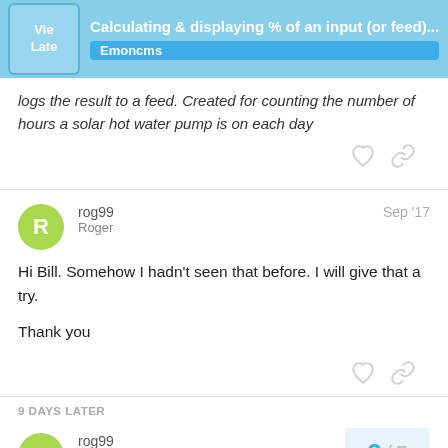Calculating & displaying % of an input (or feed)... Emoncms
logs the result to a feed. Created for counting the number of hours a solar hot water pump is on each day
rog99
Roger
Sep '17
Hi Bill. Somehow I hadn't seen that before. I will give that a try.
Thank you
9 DAYS LATER
rog99
Roger
2 / 5